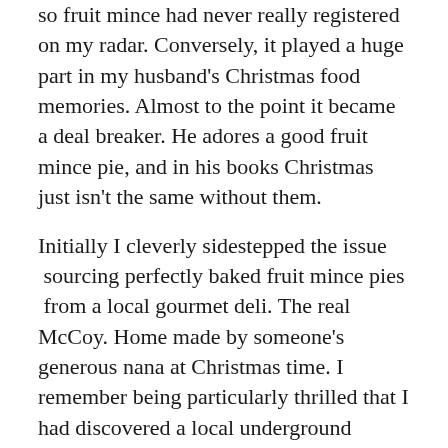so fruit mince had never really registered on my radar. Conversely, it played a huge part in my husband's Christmas food memories. Almost to the point it became a deal breaker. He adores a good fruit mince pie, and in his books Christmas just isn't the same without them.

Initially I cleverly sidestepped the issue  sourcing perfectly baked fruit mince pies  from a local gourmet deli. The real McCoy. Home made by someone's generous nana at Christmas time. I remember being particularly thrilled that I had discovered a local underground foodie secret. So popular with those in the know that orders would need to be placed weeks in advance. There came a time, however, when nana hung up her baking apron.  Time for a new strategy. I bought and taste tested a lot of fruit mince pies that Christmas. All over Sydney. Nothing hit the mark or even came close. Nana had set the bar high so it was time